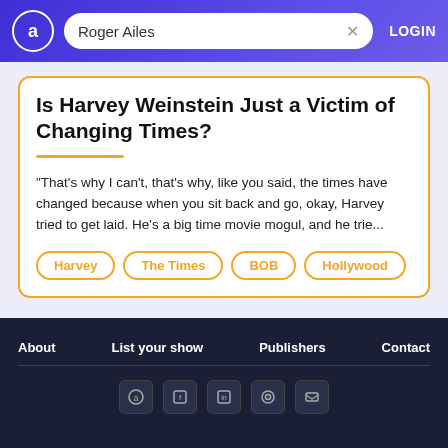Roger Ailes | LOGIN
Is Harvey Weinstein Just a Victim of Changing Times?
"That's why I can't, that's why, like you said, the times have changed because when you sit back and go, okay, Harvey tried to get laid. He's a big time movie mogul, and he trie...
Harvey
The Times
BOB
Hollywood
About   List your show   Publishers   Contact